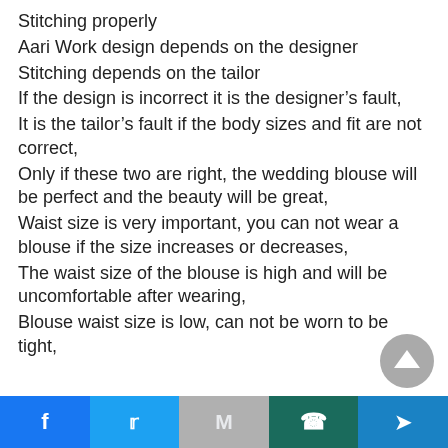Stitching properly
Aari Work design depends on the designer
Stitching depends on the tailor
If the design is incorrect it is the designer’s fault,
It is the tailor’s fault if the body sizes and fit are not correct,
Only if these two are right, the wedding blouse will be perfect and the beauty will be great,
Waist size is very important, you can not wear a blouse if the size increases or decreases,
The waist size of the blouse is high and will be uncomfortable after wearing,
Blouse waist size is low, can not be worn to be tight,
Facebook Twitter Gmail WhatsApp Share